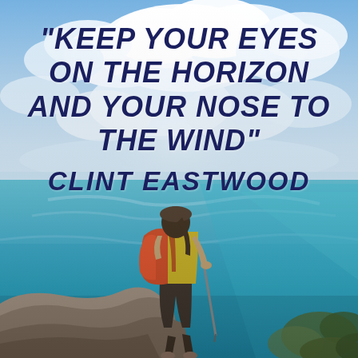[Figure (photo): A woman with an orange backpack and hiking pole stands on a rocky cliff overlooking a vivid turquoise and blue sea, seen from behind. The sky above is dramatic with large white clouds. Rocky coastal vegetation at lower right.]
"KEEP YOUR EYES ON THE HORIZON AND YOUR NOSE TO THE WIND" CLINT EASTWOOD